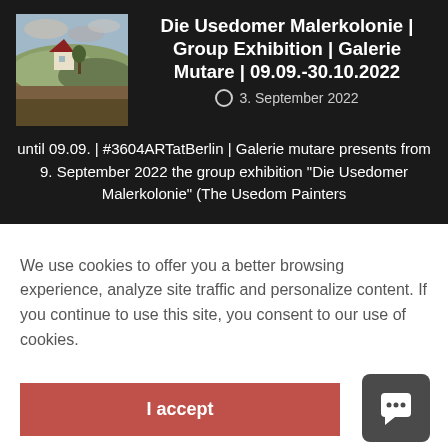[Figure (illustration): Small painting thumbnail showing a rural landscape with a house and hills in impressionist style, muted greens and browns]
Die Usedomer Malerkolonie | Group Exhibition | Galerie Mutare | 09.09.-30.10.2022
3. September 2022
until 09.09. | #3604ARTatBerlin | Galerie mutare presents from 9. September 2022 the group exhibition "Die Usedomer Malerkolonie" (The Usedom Painters
We use cookies to offer you a better browsing experience, analyze site traffic and personalize content. If you continue to use this site, you consent to our use of cookies.
I accept